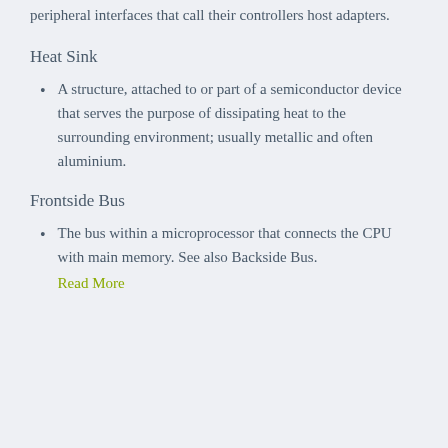peripheral interfaces that call their controllers host adapters.
Heat Sink
A structure, attached to or part of a semiconductor device that serves the purpose of dissipating heat to the surrounding environment; usually metallic and often aluminium.
Frontside Bus
The bus within a microprocessor that connects the CPU with main memory. See also Backside Bus.
Read More